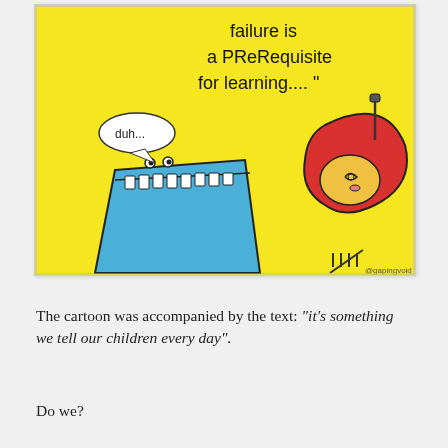[Figure (illustration): A cartoon with a yellow background. Text at the top reads 'failure is a PRERquisite for learning.... "'. A blue monster-like character with white teeth and a speech bubble saying 'duh...' is on the left. A red abstract figure/character is on the right. Attribution '@gapingvoid' at bottom right.]
The cartoon was accompanied by the text: “it’s something we tell our children every day”.
Do we?